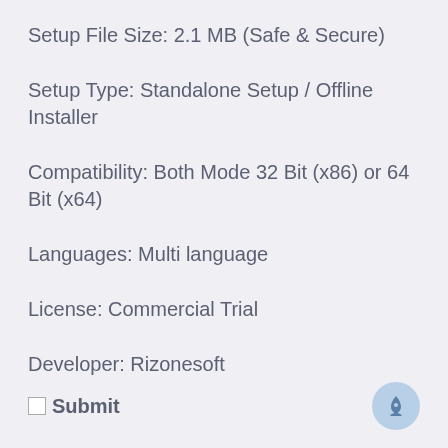Setup File Size: 2.1 MB (Safe & Secure)
Setup Type: Standalone Setup / Offline Installer
Compatibility: Both Mode 32 Bit (x86) or 64 Bit (x64)
Languages: Multi language
License: Commercial Trial
Developer: Rizonesoft
Submit